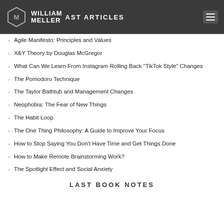WILLIAM MELLER — LAST ARTICLES
Agile Manifesto: Principles and Values
X&Y Theory by Douglas McGregor
What Can We Learn From Instagram Rolling Back "TikTok Style" Changes
The Pomodoro Technique
The Taylor Bathtub and Management Changes
Neophobia: The Fear of New Things
The Habit Loop
The One Thing Philosophy: A Guide to Improve Your Focus
How to Stop Saying You Don't Have Time and Get Things Done
How to Make Remote Brainstorming Work?
The Spotlight Effect and Social Anxiety
LAST BOOK NOTES